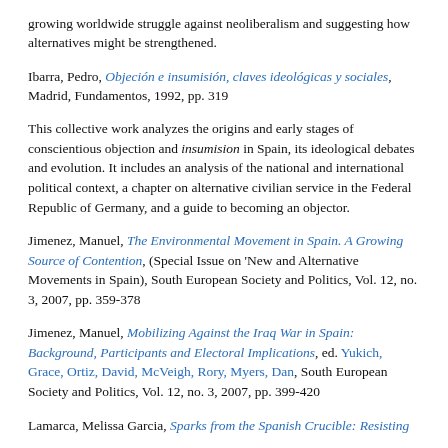growing worldwide struggle against neoliberalism and suggesting how alternatives might be strengthened.
Ibarra, Pedro, Objeción e insumisión, claves ideológicas y sociales, Madrid, Fundamentos, 1992, pp. 319
This collective work analyzes the origins and early stages of conscientious objection and insumision in Spain, its ideological debates and evolution. It includes an analysis of the national and international political context, a chapter on alternative civilian service in the Federal Republic of Germany, and a guide to becoming an objector.
Jimenez, Manuel, The Environmental Movement in Spain. A Growing Source of Contention, (Special Issue on 'New and Alternative Movements in Spain), South European Society and Politics, Vol. 12, no. 3, 2007, pp. 359-378
Jimenez, Manuel, Mobilizing Against the Iraq War in Spain: Background, Participants and Electoral Implications, ed. Yukich, Grace, Ortiz, David, McVeigh, Rory, Myers, Dan, South European Society and Politics, Vol. 12, no. 3, 2007, pp. 399-420
Lamarca, Melissa Garcia, Sparks from the Spanish Crucible: Resisting